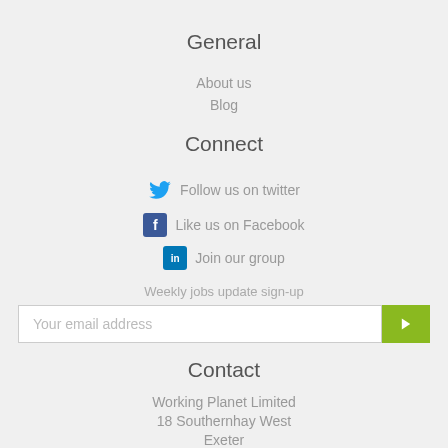General
About us
Blog
Connect
Follow us on twitter
Like us on Facebook
Join our group
Weekly jobs update sign-up
Your email address
Contact
Working Planet Limited
18 Southernhay West
Exeter
EX1 1PJ